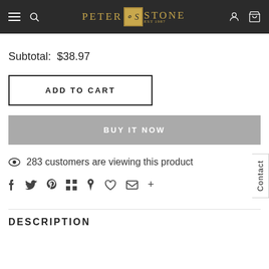Peter Stone Est. 1987
Subtotal: $38.97
ADD TO CART
BUY IT NOW
283 customers are viewing this product
DESCRIPTION